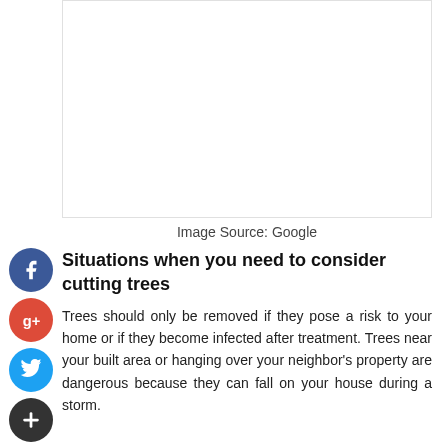[Figure (other): Blank white image area placeholder]
Image Source: Google
Situations when you need to consider cutting trees
Trees should only be removed if they pose a risk to your home or if they become infected after treatment. Trees near your built area or hanging over your neighbor's property are dangerous because they can fall on your house during a storm.